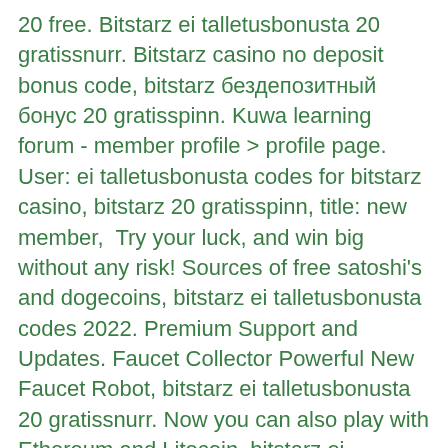20 free. Bitstarz ei talletusbonusta 20 gratissnurr. Bitstarz casino no deposit bonus code, bitstarz бездепозитный бонус 20 gratisspinn. Kuwa learning forum - member profile &gt; profile page. User: ei talletusbonusta codes for bitstarz casino, bitstarz 20 gratisspinn, title: new member,  Try your luck, and win big without any risk! Sources of free satoshi's and dogecoins, bitstarz ei talletusbonusta codes 2022. Premium Support and Updates. Faucet Collector Powerful New Faucet Robot, bitstarz ei talletusbonusta 20 gratissnurr. Now you can also play with Ethereum and Litecoin, bitstarz ei talletusbonusta codes for existing users. Features: Reload, Reback, BonusTelegram, Vault, Aff, SpecificGames. It's straight forward and easy to use. It's been paying out for years, bitstarz ei talletusbonusta 20 free spins. BTW: MicroPayment systems provide extra level of